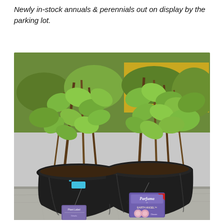Newly in-stock annuals & perennials out on display by the parking lot.
[Figure (photo): Two potted plants with green leafy foliage in black plastic nursery pots, sitting on a concrete surface. The left pot has a small blue tag and a purple plant label hanging from it. The right pot has a prominent purple 'Parfuma' branded tag showing pink/white roses with text 'Earth Angel'. More leafy green shrubs are visible in the background with yellow flowers behind them.]